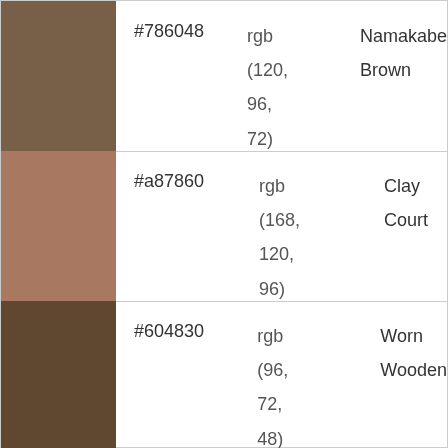[Figure (other): Color swatch: dark brown #786048]
#786048   rgb (120, 96, 72)   Namakabe Brown
[Figure (other): Color swatch: clay/terracotta #a87860]
#a87860   rgb (168, 120, 96)   Clay Court
[Figure (other): Color swatch: dark brown #604830]
#604830   rgb (96, 72, 48)   Worn Wooden